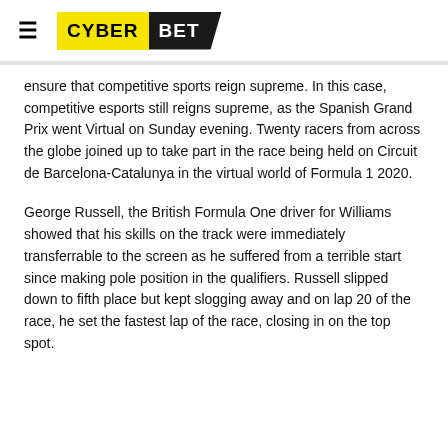CYBER BET
ensure that competitive sports reign supreme. In this case, competitive esports still reigns supreme, as the Spanish Grand Prix went Virtual on Sunday evening. Twenty racers from across the globe joined up to take part in the race being held on Circuit de Barcelona-Catalunya in the virtual world of Formula 1 2020.
George Russell, the British Formula One driver for Williams showed that his skills on the track were immediately transferrable to the screen as he suffered from a terrible start since making pole position in the qualifiers. Russell slipped down to fifth place but kept slogging away and on lap 20 of the race, he set the fastest lap of the race, closing in on the top spot.